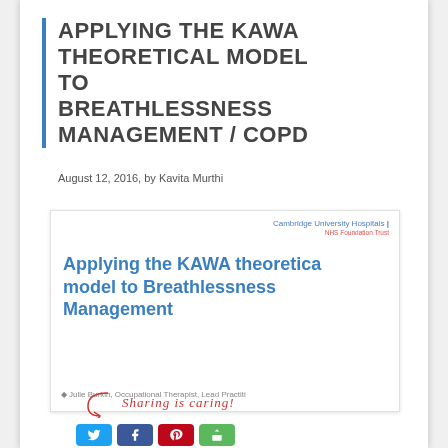APPLYING THE KAWA THEORETICAL MODEL TO BREATHLESSNESS MANAGEMENT / COPD
August 12, 2016, by Kavita Murthi
[Figure (screenshot): Screenshot of a presentation slide from Cambridge University Hospitals NHS Foundation Trust titled 'Applying the KAWA theoretical model to Breathlessness Management', authored by Julie Burkin, Occupational Therapist, Lead Practiti...]
Sharing is caring!
[Figure (other): Social sharing buttons row: Twitter (blue), Facebook (dark blue), Pinterest (red), Copy/Share (green)]